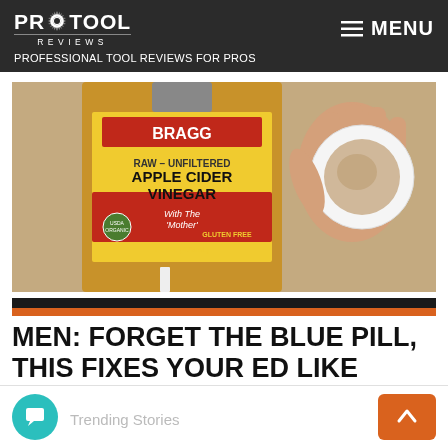PRO TOOL REVIEWS — PROFESSIONAL TOOL REVIEWS FOR PROS — MENU
[Figure (photo): Photo of a bottle of Bragg Apple Cider Vinegar (Raw–Unfiltered, With The Mother, Gluten Free) and a hand holding a white container/cap with powder or substance inside.]
MEN: FORGET THE BLUE PILL, THIS FIXES YOUR ED LIKE CRAZY! (DO THIS)
8  Trending Stories